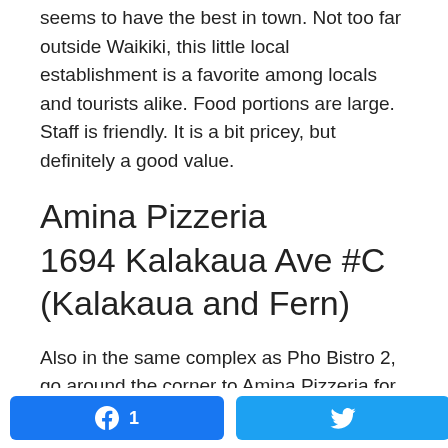seems to have the best in town. Not too far outside Waikiki, this little local establishment is a favorite among locals and tourists alike. Food portions are large. Staff is friendly. It is a bit pricey, but definitely a good value.
Amina Pizzeria
1694 Kalakaua Ave #C (Kalakaua and Fern)
Also in the same complex as Pho Bistro 2, go around the corner to Amina Pizzeria for the best in Italian. Very small space with only about 10 or 12 tables. So it might be better to order your food to